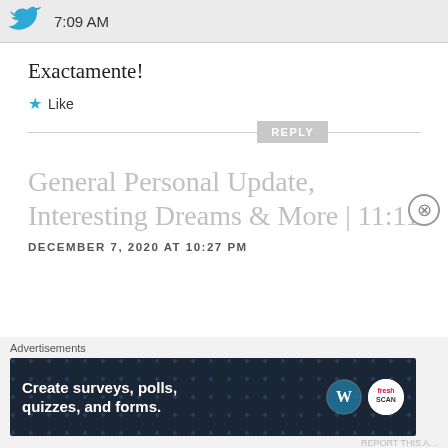[Figure (logo): Twitter bird logo in blue, partially cropped]
7:09 AM
Exactamente!
★ Like
REPLY
General Personal Update, Interesting Dreams & More | 11:11
DECEMBER 7, 2020 AT 10:27 PM
Advertisements
[Figure (screenshot): Advertisement banner: Create surveys, polls, quizzes, and forms. WordPress and Fresh logos on dark navy background.]